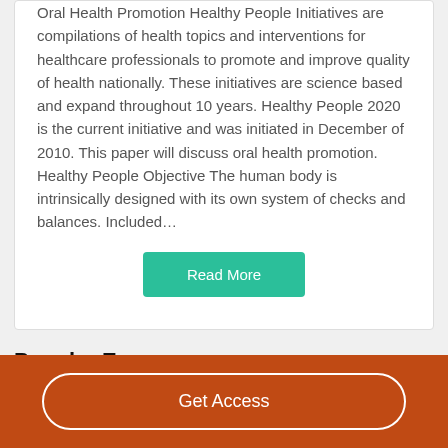Oral Health Promotion Healthy People Initiatives are compilations of health topics and interventions for healthcare professionals to promote and improve quality of health nationally. These initiatives are science based and expand throughout 10 years. Healthy People 2020 is the current initiative and was initiated in December of 2010. This paper will discuss oral health promotion. Healthy People Objective The human body is intrinsically designed with its own system of checks and balances. Included…
Read More
Popular Essays
Get Access